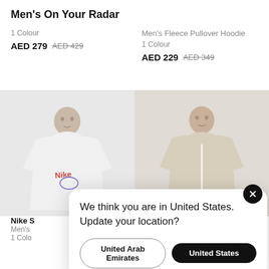Men's On Your Radar
1 Colour
AED 279 AED 429
Men's Fleece Pullover Hoodie
1 Colour
AED 229 AED 349
[Figure (photo): Man wearing white Nike hoodie with graphic logo print]
[Figure (photo): Man wearing beige/tan zip-up fleece hoodie]
Nike S
Men's
1 Colo
Men's Insulated Full Zip Hoodie
We think you are in United States. Update your location?
United Arab Emirates
United States